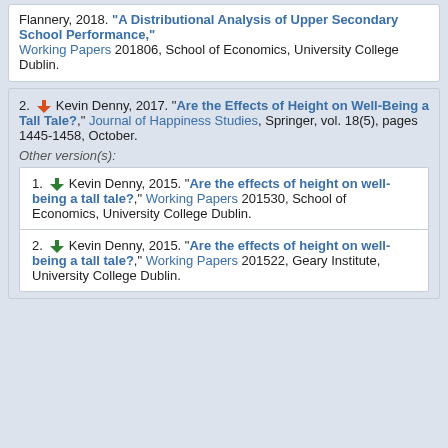Flannery, 2018. "A Distributional Analysis of Upper Secondary School Performance," Working Papers 201806, School of Economics, University College Dublin.
2. Kevin Denny, 2017. "Are the Effects of Height on Well-Being a Tall Tale?," Journal of Happiness Studies, Springer, vol. 18(5), pages 1445-1458, October.
Other version(s):
1. Kevin Denny, 2015. "Are the effects of height on well-being a tall tale?," Working Papers 201530, School of Economics, University College Dublin.
2. Kevin Denny, 2015. "Are the effects of height on well-being a tall tale?," Working Papers 201522, Geary Institute, University College Dublin.